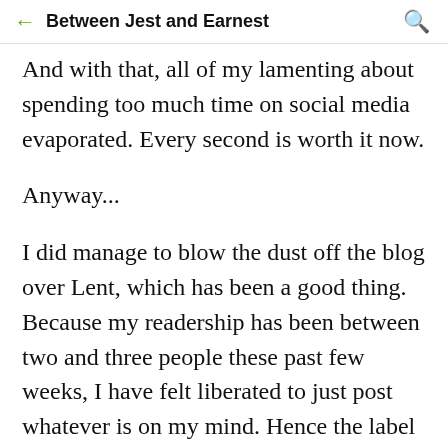Between Jest and Earnest
And with that, all of my lamenting about spending too much time on social media evaporated. Every second is worth it now.
Anyway...
I did manage to blow the dust off the blog over Lent, which has been a good thing. Because my readership has been between two and three people these past few weeks, I have felt liberated to just post whatever is on my mind. Hence the label applied to most of these posts: "stupid stuff."